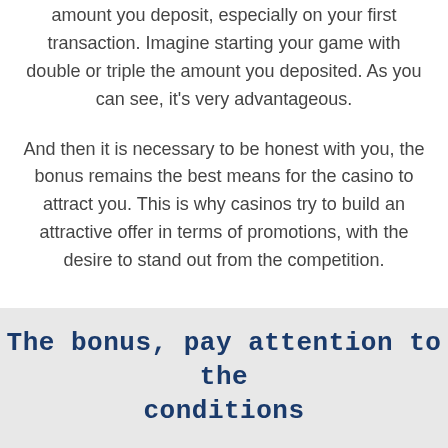amount you deposit, especially on your first transaction. Imagine starting your game with double or triple the amount you deposited. As you can see, it's very advantageous.
And then it is necessary to be honest with you, the bonus remains the best means for the casino to attract you. This is why casinos try to build an attractive offer in terms of promotions, with the desire to stand out from the competition.
The bonus, pay attention to the conditions